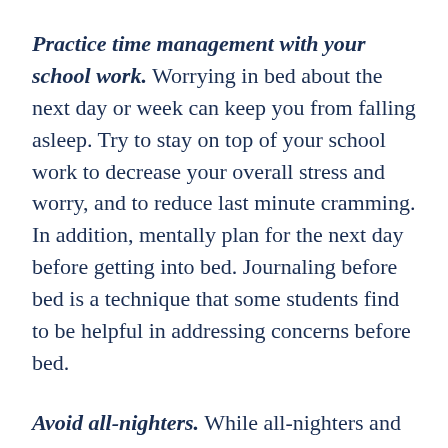Practice time management with your school work. Worrying in bed about the next day or week can keep you from falling asleep. Try to stay on top of your school work to decrease your overall stress and worry, and to reduce last minute cramming. In addition, mentally plan for the next day before getting into bed. Journaling before bed is a technique that some students find to be helpful in addressing concerns before bed.
Avoid all-nighters. While all-nighters and late-night study sessions may appear to give you more time to cram, they are also likely to drain your brainpower. Sleep deprivation hinders your ability to perform complex cognitive tasks like those required on exams. And it is unlikely that you will